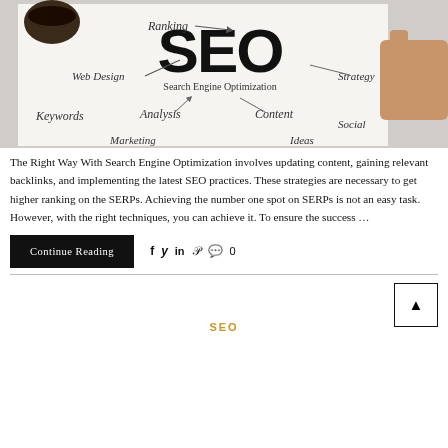[Figure (photo): SEO concept photo showing a whiteboard/paper with arrows pointing to 'SEO' (Search Engine Optimization) and surrounding keywords: Ranking, Web Design, Keywords, Analysis, Content, Strategy, Social, Marketing. A coffee cup and a hand pointing at the board are visible.]
The Right Way With Search Engine Optimization involves updating content, gaining relevant backlinks, and implementing the latest SEO practices. These strategies are necessary to get higher ranking on the SERPs. Achieving the number one spot on SERPs is not an easy task. However, with the right techniques, you can achieve it. To ensure the success …
Continue Reading
0
SEO